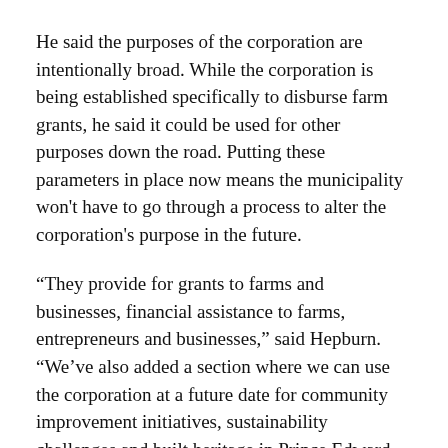He said the purposes of the corporation are intentionally broad. While the corporation is being established specifically to disburse farm grants, he said it could be used for other purposes down the road. Putting these parameters in place now means the municipality won't have to go through a process to alter the corporation's purpose in the future.
“They provide for grants to farms and businesses, financial assistance to farms, entrepreneurs and businesses,” said Hepburn. “We’ve also added a section where we can use the corporation at a future date for community improvement initiatives, sustainability challenges and built heritage in Prince Edward County.”
Bylaws governing the corporation’s actions will be established at a later date.
“We’ll have bylaws after we get our letters patent which would provide more substance as to what the